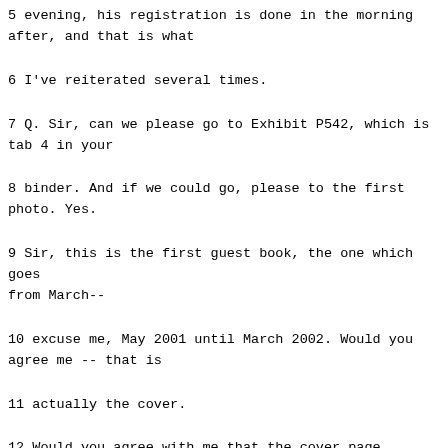5 evening, his registration is done in the morning after, and that is what
6 I've reiterated several times.
7 Q. Sir, can we please go to Exhibit P542, which is tab 4 in your
8 binder. And if we could go, please to the first photo. Yes.
9 Sir, this is the first guest book, the one which goes from March--
10 excuse me, May 2001 until March 2002. Would you agree me -- that is
11 actually the cover.
12 Would you agree with me that the cover page practically looks new
13 in touch from the exterior?
14 A. I agree fully with you.
15 MS. REGUE: And if we could go please to the next page of this
16 exhibit.
17 Q. Would you agree with me that this is not the same